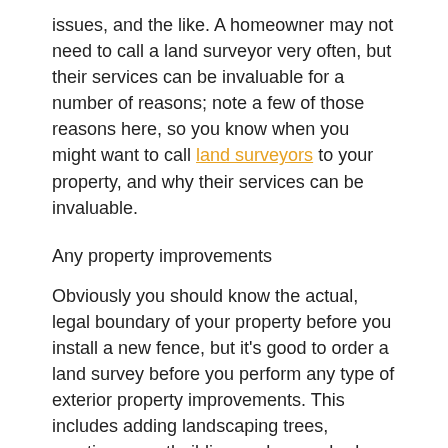issues, and the like. A homeowner may not need to call a land surveyor very often, but their services can be invaluable for a number of reasons; note a few of those reasons here, so you know when you might want to call land surveyors to your property, and why their services can be invaluable.
Any property improvements
Obviously you should know the actual, legal boundary of your property before you install a new fence, but it's good to order a land survey before you perform any type of exterior property improvements. This includes adding landscaping trees, erecting an outbuilding such as a shed, barn, garage or silo, and even adding a small structure such as a pergola. Having a survey done before you erect any such structure will ensure you are not encroaching on a neighbour's property and will not risk damaging a neighbour's property by creating drainage issues.